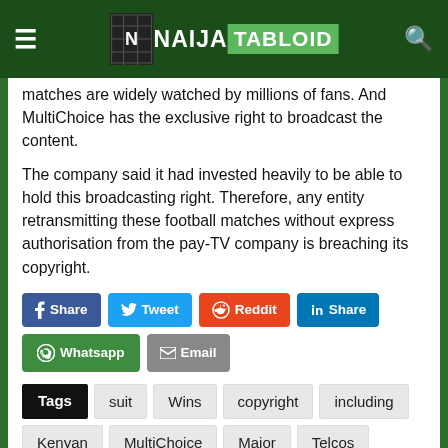[Figure (logo): Naija Tabloid logo with hamburger menu and search icon in dark green header]
matches are widely watched by millions of fans. And MultiChoice has the exclusive right to broadcast the content.
The company said it had invested heavily to be able to hold this broadcasting right. Therefore, any entity retransmitting these football matches without express authorisation from the pay-TV company is breaching its copyright.
Share Tweet Reddit Share Whatsapp Email
Tags: suit, Wins, copyright, including, Kenyan, MultiChoice, Major, Telcos, historic, Safaricom